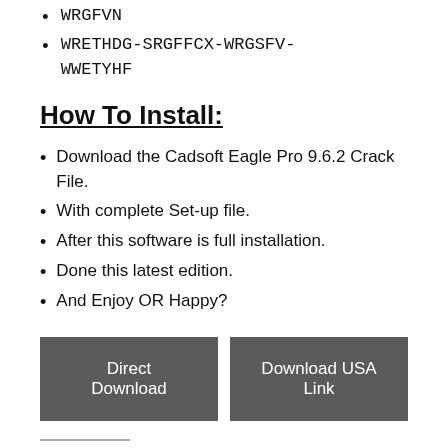WRGFVN
WRETHDG-SRGFFCX-WRGSFV-WWETYHF
How To Install:
Download the Cadsoft Eagle Pro 9.6.2 Crack File.
With complete Set-up file.
After this software is full installation.
Done this latest edition.
And Enjoy OR Happy?
Direct Download | Download USA Link
Related